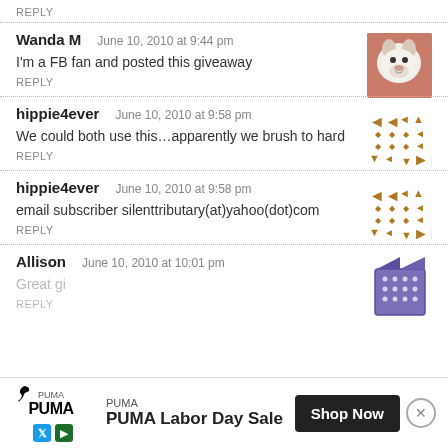REPLY
Wanda M   June 10, 2010 at 9:44 pm
I'm a FB fan and posted this giveaway
REPLY
hippie4ever   June 10, 2010 at 9:58 pm
We could both use this…apparently we brush to hard
REPLY
hippie4ever   June 10, 2010 at 9:58 pm
email subscriber silenttributary(at)yahoo(dot)com
REPLY
Allison   June 10, 2010 at 10:01 pm
Great gi
REPLY
[Figure (other): PUMA Labor Day Sale advertisement banner with Puma logo, Shop Now button, and social media icons]